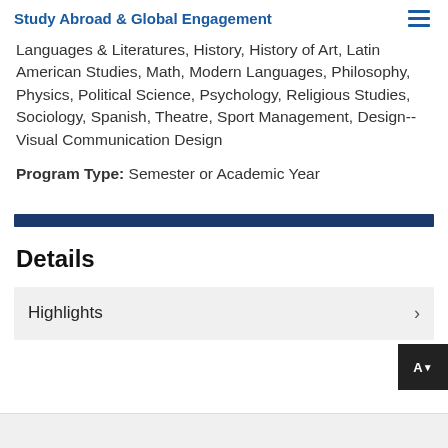Study Abroad & Global Engagement
Languages & Literatures, History, History of Art, Latin American Studies, Math, Modern Languages, Philosophy, Physics, Political Science, Psychology, Religious Studies, Sociology, Spanish, Theatre, Sport Management, Design--Visual Communication Design
Program Type: Semester or Academic Year
Details
Highlights